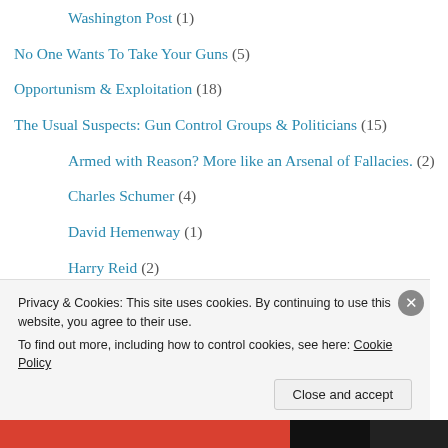Washington Post (1)
No One Wants To Take Your Guns (5)
Opportunism & Exploitation (18)
The Usual Suspects: Gun Control Groups & Politicians (15)
Armed with Reason? More like an Arsenal of Fallacies. (2)
Charles Schumer (4)
David Hemenway (1)
Harry Reid (2)
Privacy & Cookies: This site uses cookies. By continuing to use this website, you agree to their use.
To find out more, including how to control cookies, see here: Cookie Policy
Close and accept